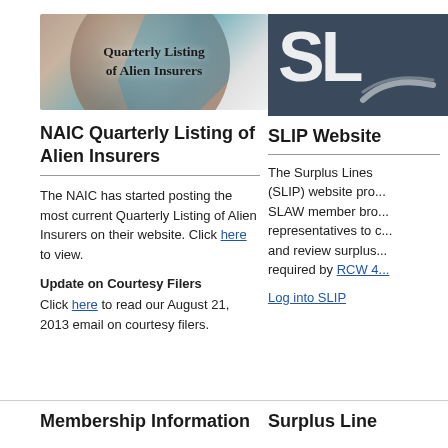[Figure (illustration): Globe image with text overlay reading 'Quarterly Listing of Alien Insurers']
NAIC Quarterly Listing of Alien Insurers
The NAIC has started posting the most current Quarterly Listing of Alien Insurers on their website. Click here to view.
Update on Courtesy Filers
Click here to read our August 21, 2013 email on courtesy filers.
[Figure (logo): SLIP logo with dark blue/grey background and large white 'SL' letters]
SLIP Website
The Surplus Lines (SLIP) website pro... SLAW member bro... representatives to ... and review surplus... required by RCW 4...
Log into SLIP
Membership Information
Surplus Line